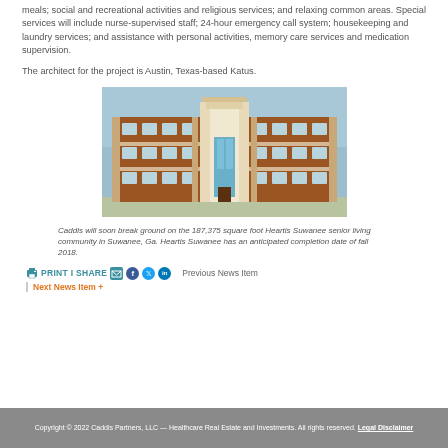meals; social and recreational activities and religious services; and relaxing common areas. Special services will include nurse-supervised staff; 24-hour emergency call system; housekeeping and laundry services; and assistance with personal activities, memory care services and medication supervision.
The architect for the project is Austin, Texas-based Katus.
[Figure (photo): Rendering of a multi-story brick senior living community building with a prominent central white tower/entrance and rows of windows on multiple floors.]
Caddis will soon break ground on the 187,375 square foot Heartis Suwanee senior living community in Suwanee, Ga. Heartis Suwanee has an anticipated completion date of fall 2018.
PRINT I SHARE  Previous News Item  Next News Item +
Copyright © 2022 Caddis Partners, LLC — Healthcare Real Estate and Investments. All rights reserved. Legal Disclaimer